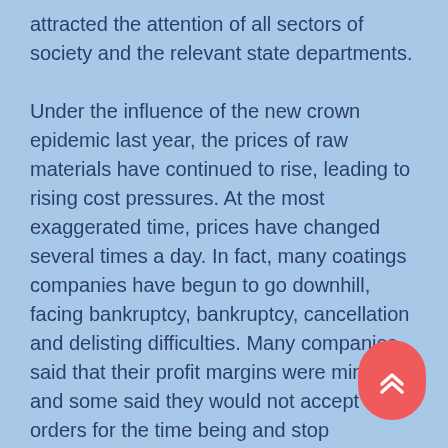attracted the attention of all sectors of society and the relevant state departments.
Under the influence of the new crown epidemic last year, the prices of raw materials have continued to rise, leading to rising cost pressures. At the most exaggerated time, prices have changed several times a day. In fact, many coatings companies have begun to go downhill, facing bankruptcy, bankruptcy, cancellation and delisting difficulties. Many companies said that their profit margins were minimal, and some said they would not accept orders for the time being and stop production pending, and some simply withdrew.
According to statistics, since the beginning of this year, among the 98 monitored chemicals, 80 chemical raw materials have risen, accounting for 81.63%. Among them, polysilicon has skyrocketed all the way due to the "lack of core" problem, with an increase over 100%. Crude benzene (+89.78%), ammonium sulfate (+87.50%), hydrogenated benzene (+83.99%), pure benzene
[Figure (other): A red rounded scroll-to-top button with double chevron up arrow, positioned in the bottom right corner.]